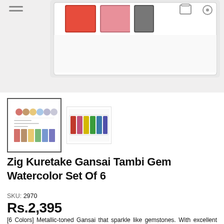[Figure (photo): Main product photo of Zig Kuretake Gansai Tambi Gem Watercolor Set, showing colorful paint pans in white palette case, top portion cropped]
[Figure (photo): Thumbnail 1: Color chart swatch sheet showing dot samples and rectangular pan swatches of the gem watercolors]
[Figure (photo): Thumbnail 2: Photo showing the 6 colorful paint pans in a row - red, pink, yellow, green, teal, blue, purple]
Zig Kuretake Gansai Tambi Gem Watercolor Set Of 6
SKU: 2970
Rs.2,395
[6 Colors] Metallic-toned Gansai that sparkle like gemstones. With excellent opaqueness, the deep colors embellish the paper and stand out boldly. Gansai Tambi Gem colors are a set of